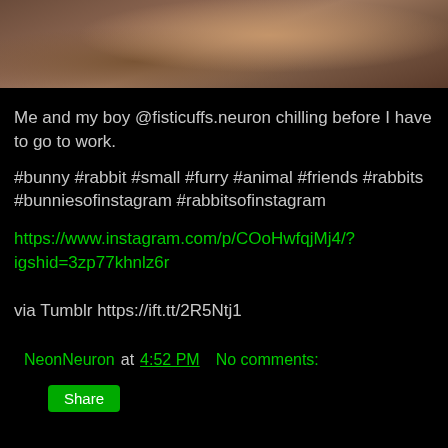[Figure (photo): Close-up photo of a rabbit's fur/back, brownish tones on black background]
Me and my boy @fisticuffs.neuron chilling before I have to go to work.
#bunny #rabbit #small #furry #animal #friends #rabbits #bunniesofinstagram #rabbitsofinstagram
https://www.instagram.com/p/COoHwfqjMj4/?igshid=3zp77khnlz6r
via Tumblr https://ift.tt/2R5Ntj1
NeonNeuron at 4:52 PM   No comments:
Share